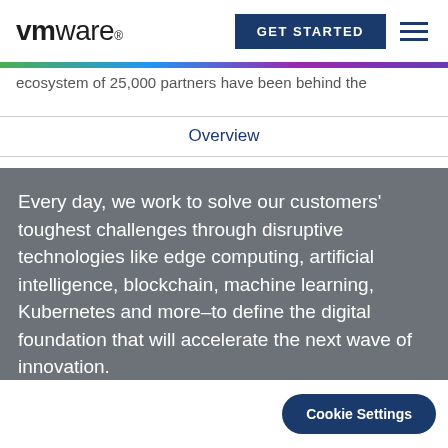VMware — GET STARTED
ecosystem of 25,000 partners have been behind the
Overview
Every day, we work to solve our customers' toughest challenges through disruptive technologies like edge computing, artificial intelligence, blockchain, machine learning, Kubernetes and more–to define the digital foundation that will accelerate the next wave of innovation.
Cookie Settings